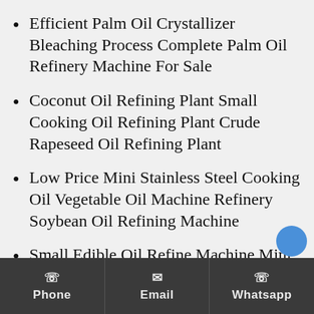Efficient Palm Oil Crystallizer Bleaching Process Complete Palm Oil Refinery Machine For Sale
Coconut Oil Refining Plant Small Cooking Oil Refining Plant Crude Rapeseed Oil Refining Plant
Low Price Mini Stainless Steel Cooking Oil Vegetable Oil Machine Refinery Soybean Oil Refining Machine
Small Edible Oil Refine Machine Mini Refining Crude Oil Refinery Machinery Equipment
Phone   Email   Whatsapp